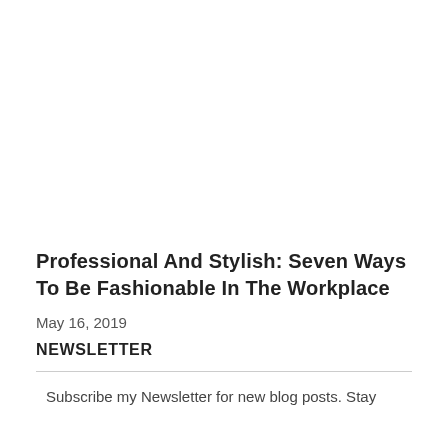[Figure (photo): Blank white image placeholder area at the top of the page]
Professional And Stylish: Seven Ways To Be Fashionable In The Workplace
May 16, 2019
NEWSLETTER
Subscribe my Newsletter for new blog posts. Stay